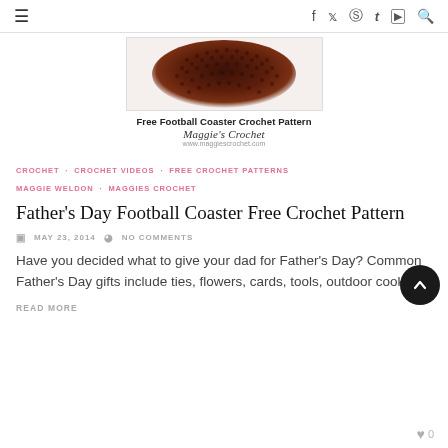≡  f  t  ⊕  t  ▶  Q
[Figure (photo): Crocheted football coaster in dark brown yarn, oval shaped, viewed from above. Below it shows text: Free Football Coaster Crochet Pattern, Maggie's Crochet, www.maggiescrochet.com]
Free Football Coaster Crochet Pattern
Maggie's Crochet
www.maggiescrochet.com
CROCHET · CROCHET VIDEOS · FREE CROCHET PATTERNS · MAGGIE WELDON · MAGGIES CROCHET
Father's Day Football Coaster Free Crochet Pattern
MAY 23, 2014   NO COMMENTS
Have you decided what to give your dad for Father's Day? Common Father's Day gifts include ties, flowers, cards, tools, outdoor cooking
READ MORE